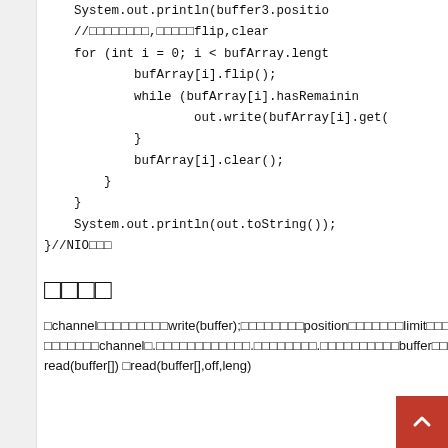System.out.println(buffer3.positio
//□□□□□□□□,□□□□□flip,clear
for (int i = 0; i < bufArray.lengt
        bufArray[i].flip();
        while (bufArray[i].hasRemainin
                out.write(bufArray[i].get(
        }
        bufArray[i].clear();
    }
}
System.out.println(out.toString());
}//NIO□□□
□□□□
□channel□□□□□□□□□write(buffer);□□□□□□□□position□□□□□□□limit□□□
□□□□□□□channel□.□□□□□□□□□□□□.□□□□□□□□.□□□□□□□□□□buffer□□□
read(buffer[]) □read(buffer[],off,leng)